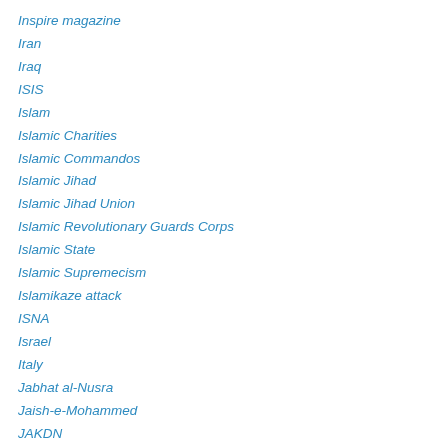Inspire magazine
Iran
Iraq
ISIS
Islam
Islamic Charities
Islamic Commandos
Islamic Jihad
Islamic Jihad Union
Islamic Revolutionary Guards Corps
Islamic State
Islamic Supremecism
Islamikaze attack
ISNA
Israel
Italy
Jabhat al-Nusra
Jaish-e-Mohammed
JAKDN
Jamaah Anshar Khilafah Daulah Nusantara